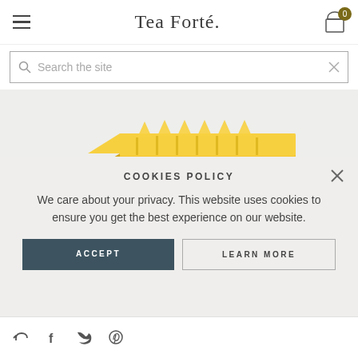Tea Forté
Search the site
[Figure (photo): Yellow Tea Forté gift box opened showing pyramid tea bags, with a smaller floral-decorated box in front]
COOKIES POLICY
We care about your privacy. This website uses cookies to ensure you get the best experience on our website.
ACCEPT
LEARN MORE